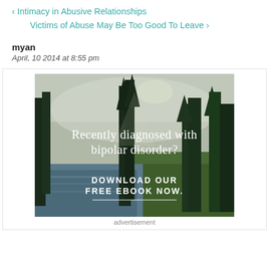‹ Intimacy in Abusive Relationships
Victims of Abuse May Be Too Good To Leave ›
myan
April, 10 2014 at 8:55 pm
[Figure (photo): Advertisement image showing a forest scene with a stream and trees. Text overlay reads: 'Recently diagnosed with bipolar disorder? DOWNLOAD OUR FREE EBOOK NOW.' with a horizontal line underneath.]
advertisement